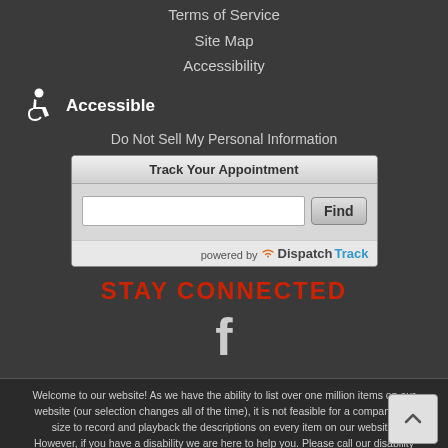Terms of Service
Site Map
Accessibility
[Figure (logo): Wheelchair accessibility icon with text 'Accessible']
Do Not Sell My Personal Information
[Figure (screenshot): Track Your Appointment widget with text input and Find button, powered by DispatchTrack]
STAY CONNECTED
[Figure (logo): Facebook icon (f)]
Welcome to our website! As we have the ability to list over one million items on our website (our selection changes all of the time), it is not feasible for a company our size to record and playback the descriptions on every item on our website. However, if you have a disability we are here to help you. Please call our disability services phone line at (978) 410-7517 during regular business hours and one of our kind and friendly personal shoppers will help you navigate through our website, help conduct